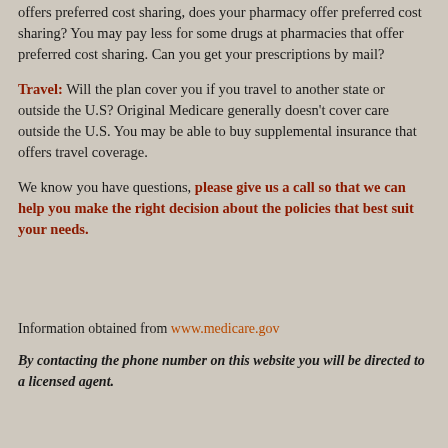offers preferred cost sharing, does your pharmacy offer preferred cost sharing? You may pay less for some drugs at pharmacies that offer preferred cost sharing. Can you get your prescriptions by mail?
Travel: Will the plan cover you if you travel to another state or outside the U.S? Original Medicare generally doesn't cover care outside the U.S. You may be able to buy supplemental insurance that offers travel coverage.
We know you have questions, please give us a call so that we can help you make the right decision about the policies that best suit your needs.
Information obtained from www.medicare.gov
By contacting the phone number on this website you will be directed to a licensed agent.